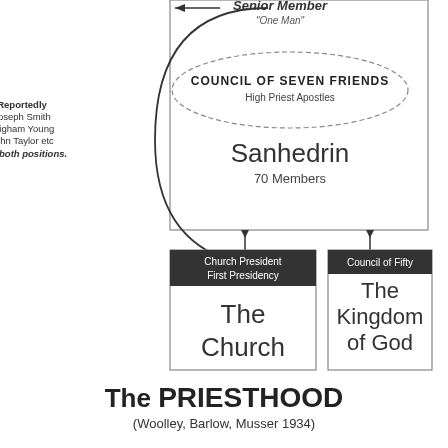[Figure (organizational-chart): Partial organizational chart showing Council of Seven Friends (High Priest Apostles), Sanhedrin (70 Members), Church President/First Presidency leading to The Church, and Council of Fifty leading to The Kingdom of God. An arrow curves from the top Senior Member position down to Church President/First Presidency. A note on the left reads: Reportedly Joseph Smith, Brigham Young, John Taylor etc held both positions.]
The PRIESTHOOD (Woolley, Barlow, Musser 1934)